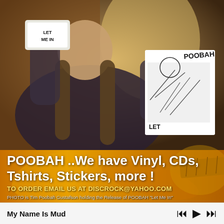[Figure (photo): Person with long hair holding up a small sticker reading 'LET ME IN' in one hand and a vinyl record/album cover showing 'POOBAH LET ME IN' artwork in the other hand. Warm indoor lighting.]
POOBAH ..We have Vinyl, CDs, Tshirts, Stickers, more !
TO ORDER EMAIL US AT DISCROCK@YAHOO.COM
PHOTO is Tim Poobah Gustafson holding the Release of POOBAH "Let Me In"
My Name Is Mud